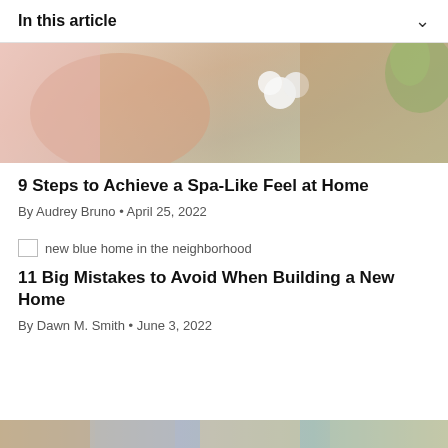In this article
[Figure (photo): A person in a pink shirt holding white cotton flowers near a wooden surface, cropped hero image for spa article]
9 Steps to Achieve a Spa-Like Feel at Home
By Audrey Bruno • April 25, 2022
[Figure (photo): Broken/unloaded image thumbnail labeled 'new blue home in the neighborhood']
11 Big Mistakes to Avoid When Building a New Home
By Dawn M. Smith • June 3, 2022
[Figure (photo): Partially visible image strip at the bottom of the page]